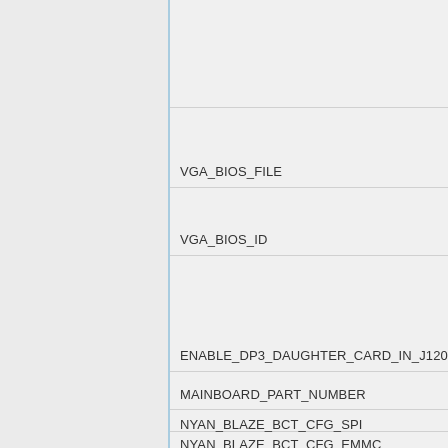| Name |
| --- |
|  |
| VGA_BIOS_FILE |
| VGA_BIOS_ID |
| ENABLE_DP3_DAUGHTER_CARD_IN_J120 |
| MAINBOARD_PART_NUMBER |
| NYAN_BLAZE_BCT_CFG_SPI |
| NYAN_BLAZE_BCT_CFG_EMMC |